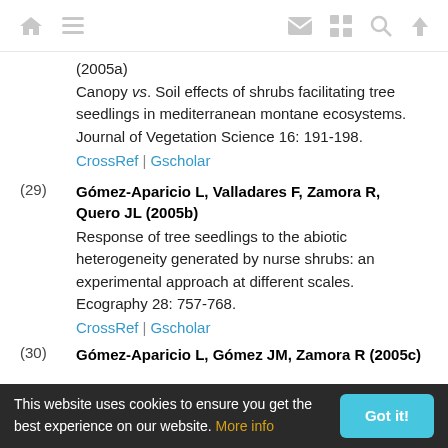Navigation bar with home, menu, mail, grid, search, and up icons
(2005a)
Canopy vs. Soil effects of shrubs facilitating tree seedlings in mediterranean montane ecosystems. Journal of Vegetation Science 16: 191-198.
CrossRef | Gscholar
(29) Gómez-Aparicio L, Valladares F, Zamora R, Quero JL (2005b)
Response of tree seedlings to the abiotic heterogeneity generated by nurse shrubs: an experimental approach at different scales. Ecography 28: 757-768.
CrossRef | Gscholar
(30) Gómez-Aparicio L, Gómez JM, Zamora R (2005c)
This website uses cookies to ensure you get the best experience on our website. More info